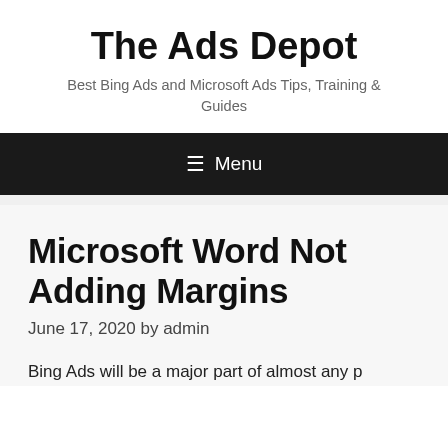The Ads Depot
Best Bing Ads and Microsoft Ads Tips, Training & Guides
≡ Menu
Microsoft Word Not Adding Margins
June 17, 2020 by admin
Bing Ads will be a major part of almost any p adding the same part of the same with the